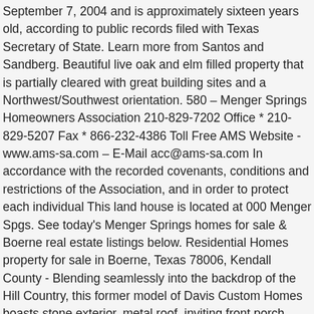September 7, 2004 and is approximately sixteen years old, according to public records filed with Texas Secretary of State. Learn more from Santos and Sandberg. Beautiful live oak and elm filled property that is partially cleared with great building sites and a Northwest/Southwest orientation. 580 – Menger Springs Homeowners Association 210-829-7202 Office * 210-829-5207 Fax * 866-232-4386 Toll Free AMS Website - www.ams-sa.com – E-Mail acc@ams-sa.com In accordance with the recorded covenants, conditions and restrictions of the Association, and in order to protect each individual This land house is located at 000 Menger Spgs. See today's Menger Springs homes for sale & Boerne real estate listings below. Residential Homes property for sale in Boerne, Texas 78006, Kendall County - Blending seamlessly into the backdrop of the Hill Country, this former model of Davis Custom Homes boasts stone exterior, metal roof, inviting front porch opening to stellar interiors accented by southern pine flooring. The most common type of parking is garage. Data inaccuracies may exist. Please verify